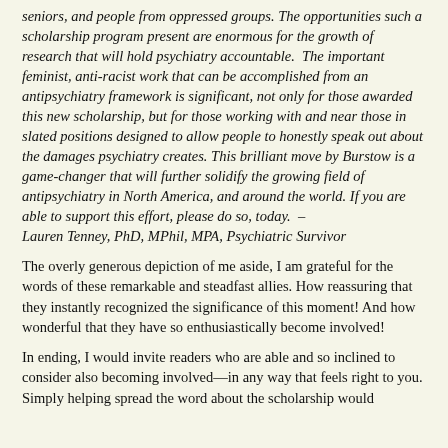seniors, and people from oppressed groups. The opportunities such a scholarship program present are enormous for the growth of research that will hold psychiatry accountable. The important feminist, anti-racist work that can be accomplished from an antipsychiatry framework is significant, not only for those awarded this new scholarship, but for those working with and near those in slated positions designed to allow people to honestly speak out about the damages psychiatry creates. This brilliant move by Burstow is a   game-changer that will further solidify the growing field of antipsychiatry in North America, and around the world. If you are able to support this effort, please do so, today. – Lauren Tenney, PhD, MPhil, MPA, Psychiatric Survivor
The overly generous depiction of me aside, I am grateful for the words of these remarkable and steadfast allies. How reassuring that they instantly recognized the significance of this moment! And how wonderful that they have so enthusiastically become involved!
In ending, I would invite readers who are able and so inclined to consider also becoming involved—in any way that feels right to you. Simply helping spread the word about the scholarship would